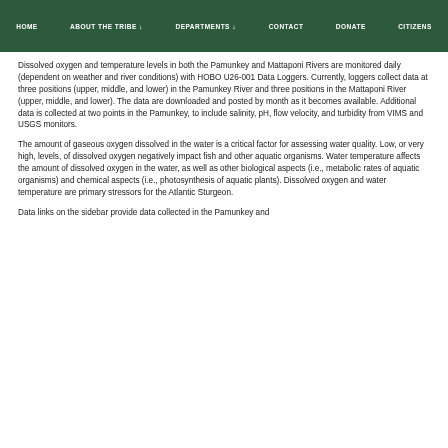HOME | ABOUT THE TRIBE | DEPARTMENTS | CONTACT | DONATE | CITIZENS
Dissolved oxygen and temperature levels in both the Pamunkey and Mattaponi Rivers are monitored daily (dependent on weather and river conditions) with HOBO U26-001 Data Loggers. Currently, loggers collect data at three positions (upper, middle, and lower) in the Pamunkey River and three positions in the Mattaponi River (upper, middle, and lower). The data are downloaded and posted by month as it becomes available. Additional data is collected at two points in the Pamunkey, to include salinity, pH, flow velocity, and turbidity from VIMS and USGS monitors.
The amount of gaseous oxygen dissolved in the water is a critical factor for assessing water quality. Low, or very high, levels, of dissolved oxygen negatively impact fish and other aquatic organisms. Water temperature affects the amount of dissolved oxygen in the water, as well as other biological aspects (i.e., metabolic rates of aquatic organisms) and chemical aspects (i.e., photosynthesis of aquatic plants). Dissolved oxygen and water temperature are primary stressors for the Atlantic Sturgeon.
Data links on the sidebar provide data collected in the Pamunkey and